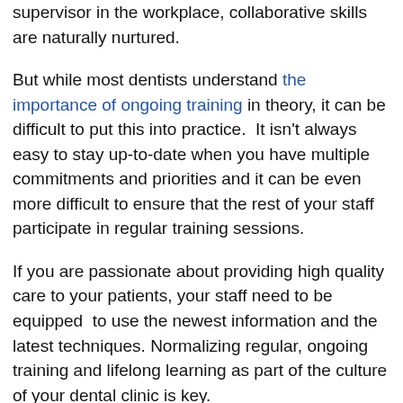supervisor in the workplace, collaborative skills are naturally nurtured.
But while most dentists understand the importance of ongoing training in theory, it can be difficult to put this into practice.  It isn't always easy to stay up-to-date when you have multiple commitments and priorities and it can be even more difficult to ensure that the rest of your staff participate in regular training sessions.
If you are passionate about providing high quality care to your patients, your staff need to be equipped  to use the newest information and the latest techniques. Normalizing regular, ongoing training and lifelong learning as part of the culture of your dental clinic is key.